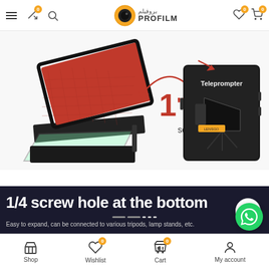ProFilm e-commerce store navigation bar with hamburger menu, shuffle icon, search icon, ProFilm logo (Arabic: بروفيلم), wishlist and cart icons
[Figure (photo): Product photo of a teleprompter shown in two states: open (left, showing red interior and glass reflector panel) and closed (right, showing black case with Teleprompter label). Red arrows point from closed to open. Text '1" second' in large red font with word 'second' below.]
[Figure (screenshot): Dark navy banner with large white bold text '1/4 screw hole at the bottom', scroll indicator dots below, and smaller gray text 'Easy to expand, can be connected to various tripods, lamp stands, etc.']
Shop | Wishlist | Cart | My account — bottom navigation bar